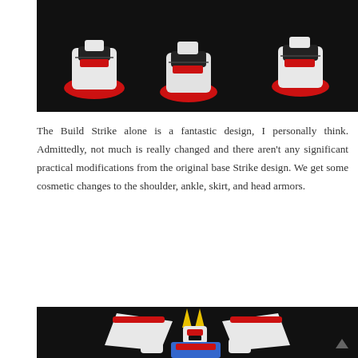[Figure (photo): Dark background photo showing multiple close-up shots of a Gundam model kit's feet and lower leg parts in white, red, and black colors, arranged in a row.]
The Build Strike alone is a fantastic design, I personally think. Admittedly, not much is really changed and there aren't any significant practical modifications from the original base Strike design. We get some cosmetic changes to the shoulder, ankle, skirt, and head armors.
[Figure (photo): Dark background photo of a Build Strike Gundam model kit (Gunpla) in white, red, blue, and yellow colors, shown from a slightly elevated front angle, with large shoulder wings, yellow head antennae, and detailed torso markings.]